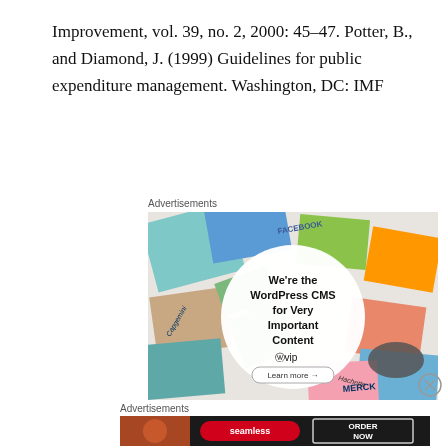Improvement, vol. 39, no. 2, 2000: 45–47. Potter, B., and Diamond, J. (1999) Guidelines for public expenditure management. Washington, DC: IMF
[Figure (other): Advertisement for WordPress VIP CMS showing various brand logos (Meta, Facebook, Capgemini, Merck, Hachette) collaged in background with a central white circle containing text 'We're the WordPress CMS for Very Important Content' with WordPress VIP logo and 'Learn more' button]
[Figure (other): Advertisement for Seamless food delivery showing pizza image on left, red Seamless logo in center, and 'ORDER NOW' button on dark background]